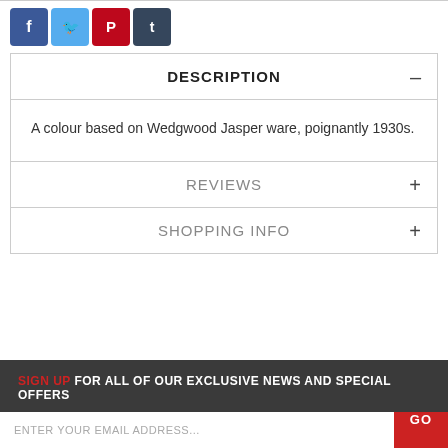[Figure (logo): Social media share icons: Facebook (blue), Twitter (light blue), Pinterest (red), Tumblr (dark blue)]
DESCRIPTION
A colour based on Wedgwood Jasper ware, poignantly 1930s.
REVIEWS
SHOPPING INFO
SIGN UP FOR ALL OF OUR EXCLUSIVE NEWS AND SPECIAL OFFERS
ENTER YOUR EMAIL ADDRESS...